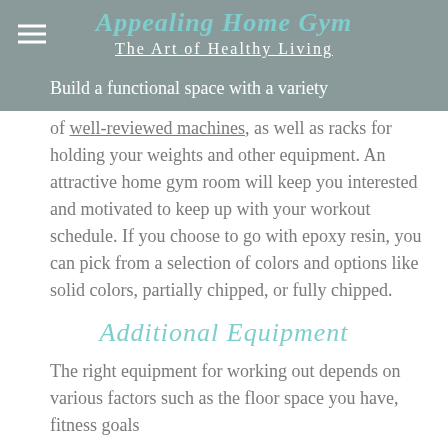Appealing Home Gym
The Art of Healthy Living
Build a functional space with a variety of well-reviewed machines, as well as racks for holding your weights and other equipment. An attractive home gym room will keep you interested and motivated to keep up with your workout schedule. If you choose to go with epoxy resin, you can pick from a selection of colors and options like solid colors, partially chipped, or fully chipped.
Additional Equipment
The right equipment for working out depends on various factors such as the floor space you have, fitness goals